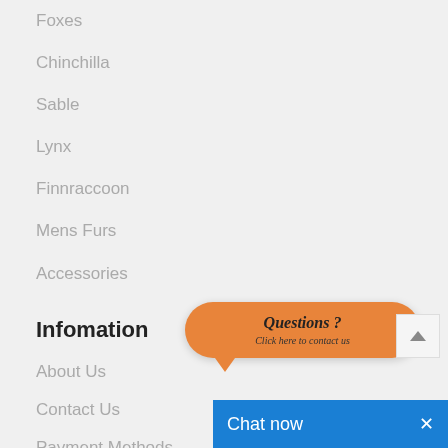Foxes
Chinchilla
Sable
Lynx
Finnraccoon
Mens Furs
Accessories
Infomation
About Us
Contact Us
Payment Methods
[Figure (screenshot): Orange speech bubble overlay with text 'Questions ? Click here to contact us' and a blue 'Chat now' bar at bottom right with an X close button]